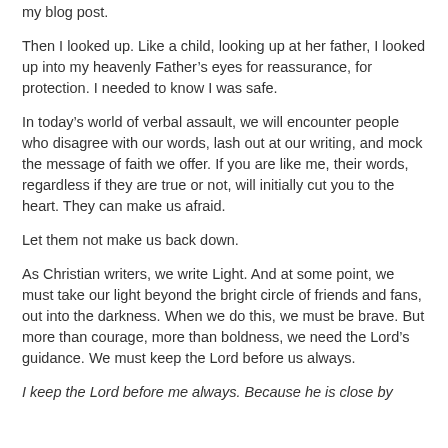my blog post.
Then I looked up. Like a child, looking up at her father, I looked up into my heavenly Father’s eyes for reassurance, for protection. I needed to know I was safe.
In today’s world of verbal assault, we will encounter people who disagree with our words, lash out at our writing, and mock the message of faith we offer. If you are like me, their words, regardless if they are true or not, will initially cut you to the heart. They can make us afraid.
Let them not make us back down.
As Christian writers, we write Light. And at some point, we must take our light beyond the bright circle of friends and fans, out into the darkness. When we do this, we must be brave. But more than courage, more than boldness, we need the Lord’s guidance. We must keep the Lord before us always.
I keep the Lord before me always. Because he is close by my side, I will not be shaken.